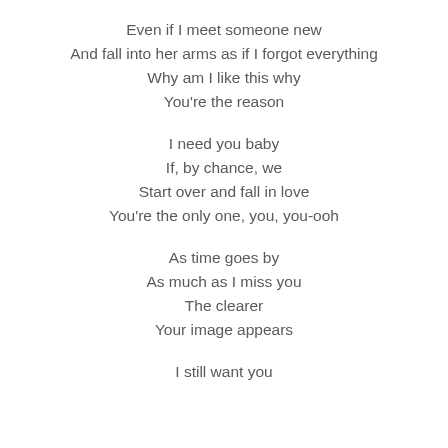Even if I meet someone new
And fall into her arms as if I forgot everything
Why am I like this why
You're the reason
I need you baby
If, by chance, we
Start over and fall in love
You're the only one, you, you-ooh
As time goes by
As much as I miss you
The clearer
Your image appears
I still want you